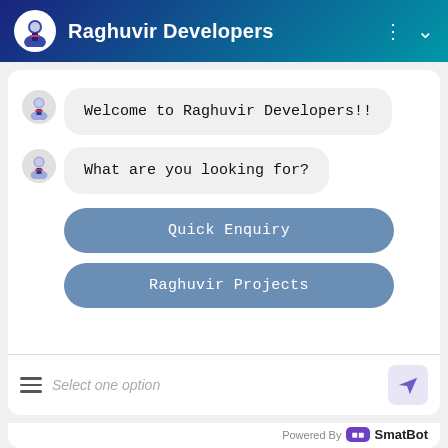Raghuvir Developers
Welcome to Raghuvir Developers!!
What are you looking for?
Quick Enquiry
Raghuvir Projects
Select one option
Powered By SmatBot